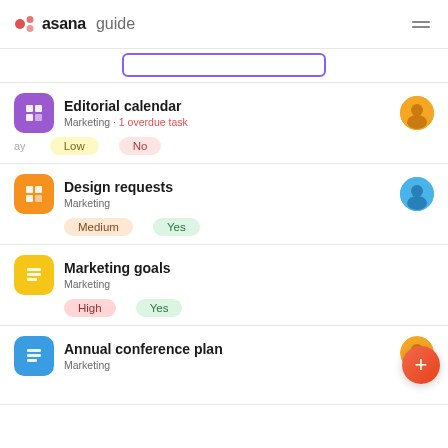asana guide
Editorial calendar · Marketing · 1 overdue task · Low · No
Design requests · Marketing · Medium · Yes
Marketing goals · Marketing · High · Yes
Annual conference plan · Marketing